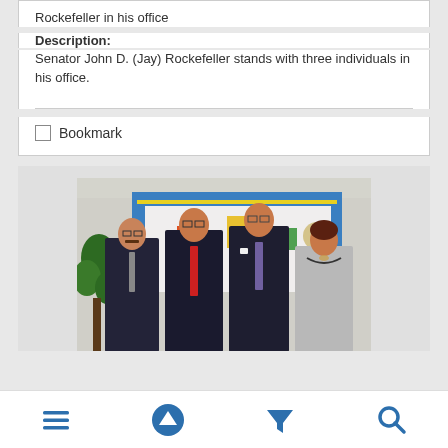Rockefeller in his office
Description:
Senator John D. (Jay) Rockefeller stands with three individuals in his office.
Bookmark
[Figure (photo): Four people standing in an office in front of a decorative blue-bordered quilt or banner hanging on the wall. Three men in dark suits and one woman in a light blazer.]
Navigation bar with menu, up, filter, and search icons